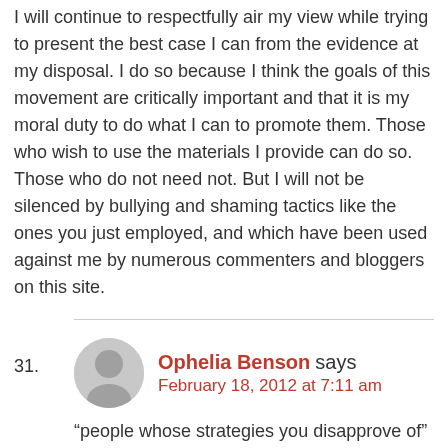I will continue to respectfully air my view while trying to present the best case I can from the evidence at my disposal. I do so because I think the goals of this movement are critically important and that it is my moral duty to do what I can to promote them. Those who wish to use the materials I provide can do so. Those who do not need not. But I will not be silenced by bullying and shaming tactics like the ones you just employed, and which have been used against me by numerous commenters and bloggers on this site.
31. Ophelia Benson says
February 18, 2012 at 7:11 am
“people whose strategies you disapprove of” – you mean like Chris Stedman and Karla McLaren? Whose “strategies” include calling “new” atheists all kinds of rude names, and then acting outraged when people push back?